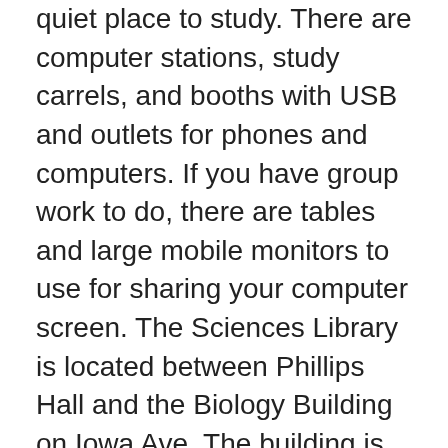quiet place to study. There are computer stations, study carrels, and booths with USB and outlets for phones and computers. If you have group work to do, there are tables and large mobile monitors to use for sharing your computer screen. The Sciences Library is located between Phillips Hall and the Biology Building on Iowa Ave. The building is open Monday through Friday from 8:30 AM to 5 PM for the Spring 2021 semester.  Due to the coronavirus pandemic, we have hygiene stations available with disinfectant wipes and hand sanitizer. A face covering is required, and yellow stickers mark off seats that are to remain unoccupied. The book stacks are open so feel free to peruse the shelves!
If you need help with your research, then you can meet with a librarian in a one-on-one research consultation to help you find books and articles that you need for a paper or project. You can search InfoHawk+ to find out what the UI Libraries has that you can use online or check out & take home, which includes print books, ebooks, newspapers, journals, and magazines (both print and